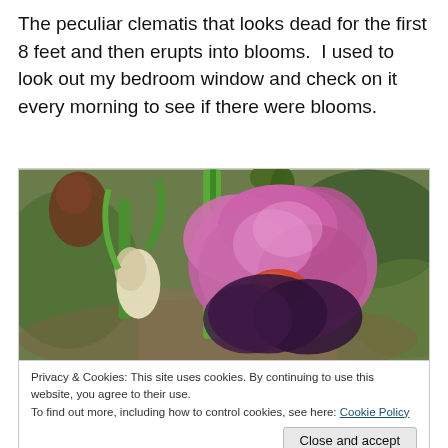The peculiar clematis that looks dead for the first 8 feet and then erupts into blooms.  I used to look out my bedroom window and check on it every morning to see if there were blooms.
[Figure (photo): A large purple/pink iris flower in bloom, with green leaves and stems in the background. Dark reddish-brown petals visible at the bottom. Garden setting with blurred foliage background.]
Privacy & Cookies: This site uses cookies. By continuing to use this website, you agree to their use.
To find out more, including how to control cookies, see here: Cookie Policy
My favourite clematis is the purple bearded...